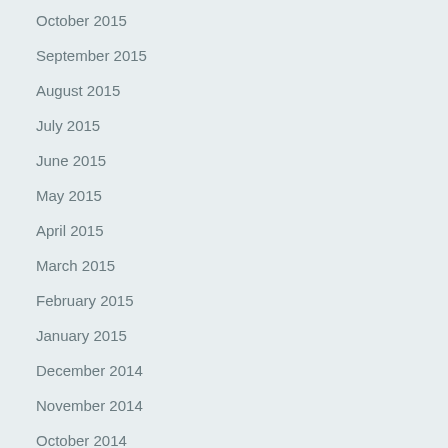October 2015
September 2015
August 2015
July 2015
June 2015
May 2015
April 2015
March 2015
February 2015
January 2015
December 2014
November 2014
October 2014